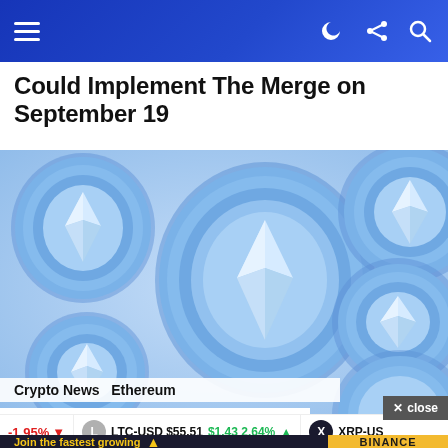Navigation bar with menu and icons
Could Implement The Merge on September 19
[Figure (photo): Multiple blue 3D Ethereum coin illustrations arranged on a light blue background. The coins feature the Ethereum diamond logo. A large central coin is flanked by smaller coins at top-left, bottom-left, top-right, and bottom-right.]
Crypto News   Ethereum
DeFi Educator Says $22 Billion in ETH 2.0...
Join the fastest growing
-1.95% ▼   LTC-USD $55.51  $1.43 2.64% ▲   XRP-US...